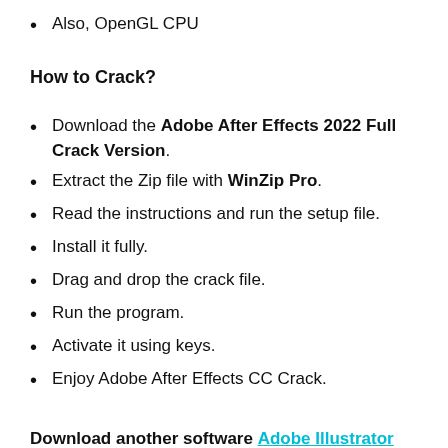Also, OpenGL CPU
How to Crack?
Download the Adobe After Effects 2022 Full Crack Version.
Extract the Zip file with WinZip Pro.
Read the instructions and run the setup file.
Install it fully.
Drag and drop the crack file.
Run the program.
Activate it using keys.
Enjoy Adobe After Effects CC Crack.
Download another software Adobe Illustrator Crack 2022